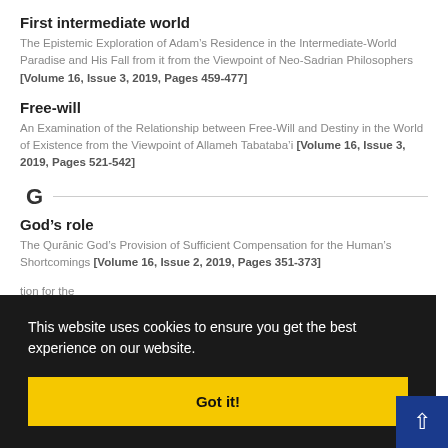First intermediate world
The Epistemic Exploration of Adam’s Residence in the Intermediate-World Paradise and His Fall from it from the Viewpoint of Neo-Sadrian Philosophers [Volume 16, Issue 3, 2019, Pages 459-477]
Free-will
An Examination of the Relationship between Free-Will and Destiny in the World of Existence from the Viewpoint of Allameh Tabataba’i [Volume 16, Issue 3, 2019, Pages 521-542]
G
God’s role
The Qurānic God’s Provision of Sufficient Compensation for the Human’s Shortcomings [Volume 16, Issue 2, 2019, Pages 351-373]
This website uses cookies to ensure you get the best experience on our website.
Got it!